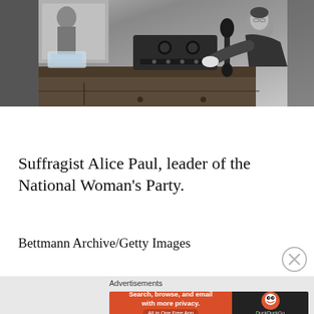[Figure (photo): Black and white historical photograph of Suffragist Alice Paul, leader of the National Woman's Party, seated at a desk operating what appears to be early radio or telegraph equipment. A second figure visible in background mirror.]
Suffragist Alice Paul, leader of the National Woman's Party.
Bettmann Archive/Getty Images